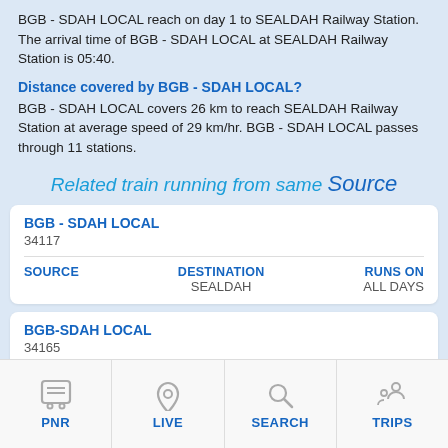BGB - SDAH LOCAL reach on day 1 to SEALDAH Railway Station. The arrival time of BGB - SDAH LOCAL at SEALDAH Railway Station is 05:40.
Distance covered by BGB - SDAH LOCAL?
BGB - SDAH LOCAL covers 26 km to reach SEALDAH Railway Station at average speed of 29 km/hr. BGB - SDAH LOCAL passes through 11 stations.
Related train running from same Source
| SOURCE | DESTINATION | RUNS ON |
| --- | --- | --- |
| BGB - SDAH LOCAL
34117 |  |  |
|  | SEALDAH | ALL DAYS |
| SOURCE | DESTINATION | RUNS ON |
| --- | --- | --- |
| BGB-SDAH LOCAL
34165 |  |  |
|  | SEALDAH | ALL DAYS |
[Figure (infographic): Bottom navigation bar with PNR, LIVE, SEARCH, TRIPS icons]